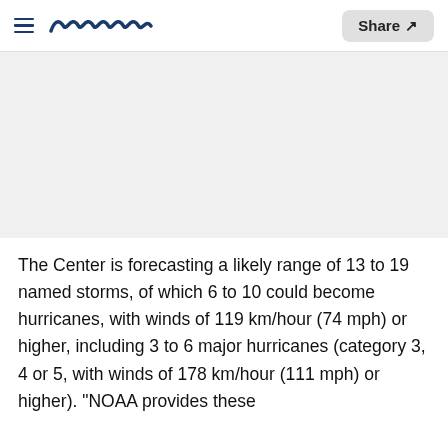≡ meawww  Share ↗
[Figure (other): Gray placeholder image block]
The Center is forecasting a likely range of 13 to 19 named storms, of which 6 to 10 could become hurricanes, with winds of 119 km/hour (74 mph) or higher, including 3 to 6 major hurricanes (category 3, 4 or 5, with winds of 178 km/hour (111 mph) or higher). "NOAA provides these